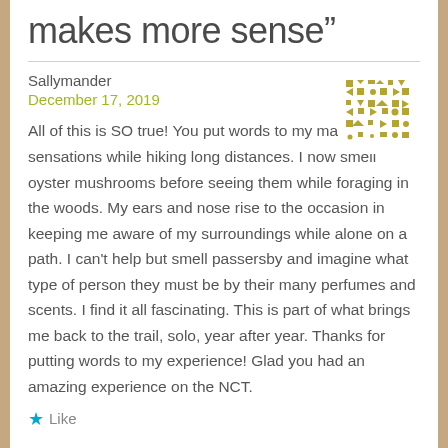makes more sense”
Sallymander
December 17, 2019
[Figure (illustration): A decorative golden/olive colored quilt or geometric pattern avatar icon]
All of this is SO true! You put words to my many sensations while hiking long distances. I now smell oyster mushrooms before seeing them while foraging in the woods. My ears and nose rise to the occasion in keeping me aware of my surroundings while alone on a path. I can’t help but smell passersby and imagine what type of person they must be by their many perfumes and scents. I find it all fascinating. This is part of what brings me back to the trail, solo, year after year. Thanks for putting words to my experience! Glad you had an amazing experience on the NCT.
Like